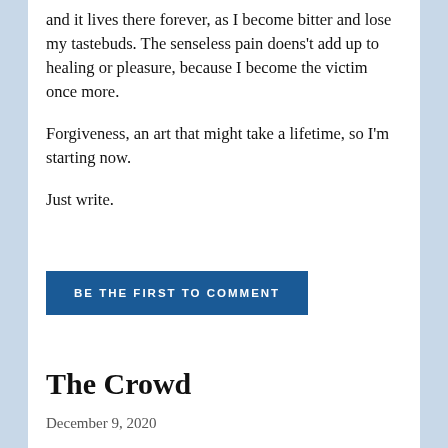and it lives there forever, as I become bitter and lose my tastebuds. The senseless pain doens't add up to healing or pleasure, because I become the victim once more.
Forgiveness, an art that might take a lifetime, so I'm starting now.
Just write.
BE THE FIRST TO COMMENT
The Crowd
December 9, 2020